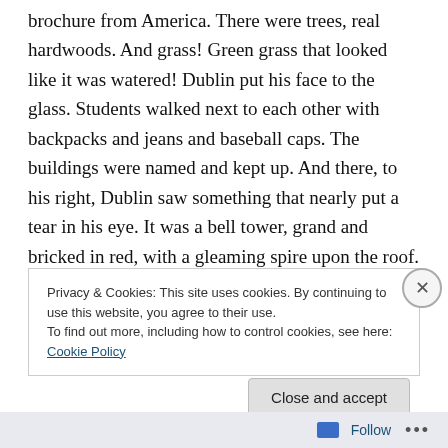brochure from America. There were trees, real hardwoods. And grass! Green grass that looked like it was watered! Dublin put his face to the glass. Students walked next to each other with backpacks and jeans and baseball caps. The buildings were named and kept up. And there, to his right, Dublin saw something that nearly put a tear in his eye. It was a bell tower, grand and bricked in red, with a gleaming spire upon the roof. Just as it began to pass behind them, the bell began to sway and peal, its vibrations felt in the glass upon which Dublin’s head rested.
Privacy & Cookies: This site uses cookies. By continuing to use this website, you agree to their use.
To find out more, including how to control cookies, see here: Cookie Policy
Close and accept
Follow